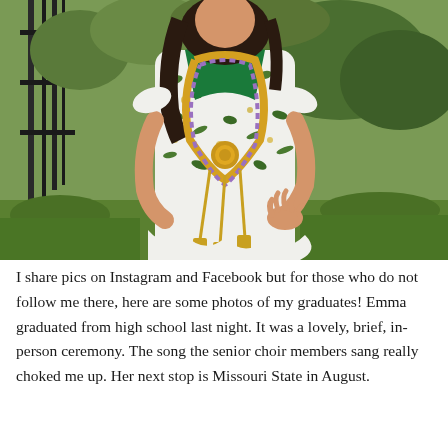[Figure (photo): A young woman standing outdoors in a floral white dress with green, yellow, and blue leaf pattern, wearing a green top underneath, and multiple graduation leis including a yellow beaded lei with a medallion and gold tassel leis. She is standing on grass with a metal fence and green bushes in the background.]
I share pics on Instagram and Facebook but for those who do not follow me there, here are some photos of my graduates! Emma graduated from high school last night. It was a lovely, brief, in-person ceremony. The song the senior choir members sang really choked me up. Her next stop is Missouri State in August.